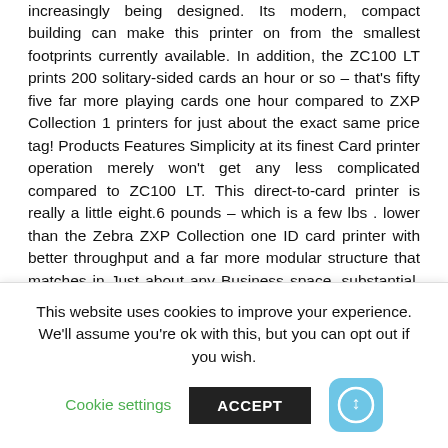increasingly being designed. Its modern, compact building can make this printer on from the smallest footprints currently available. In addition, the ZC100 LT prints 200 solitary-sided cards an hour or so – that's fifty five far more playing cards one hour compared to ZXP Collection 1 printers for just about the exact same price tag! Products Features Simplicity at its finest Card printer operation merely won't get any less complicated compared to ZC100 LT. This direct-to-card printer is really a little eight.6 pounds – which is a few lbs . lower than the Zebra ZXP Collection one ID card printer with better throughput and a far more modular structure that matches in Just about any Business space, substantial, or little. With its plug and Engage in
This website uses cookies to improve your experience. We'll assume you're ok with this, but you can opt-out if you wish.
Cookie settings
ACCEPT